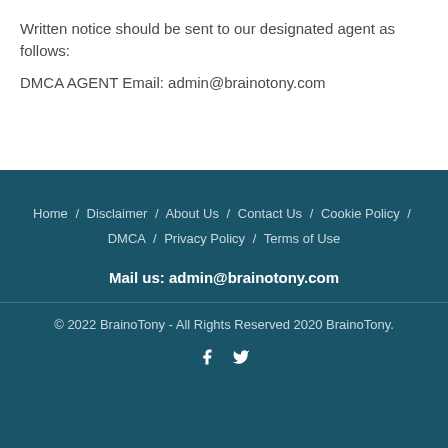Written notice should be sent to our designated agent as follows:
DMCA AGENT Email: admin@brainotony.com
Home / Disclaimer / About Us / Contact Us / Cookie Policy / DMCA / Privacy Policy / Terms of Use
Mail us: admin@brainotony.com
© 2022 BrainoTony - All Rights Reserved 2020 BrainoTony.